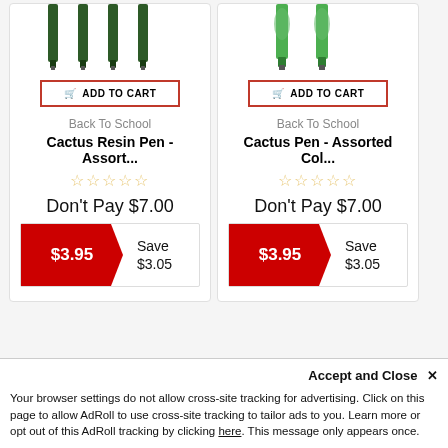[Figure (illustration): Top portion of dark green cactus resin pens arranged in a row, cropped at top]
[Figure (illustration): Top portion of bright green cactus pens arranged in a row, cropped at top]
ADD TO CART
ADD TO CART
Back To School
Back To School
Cactus Resin Pen - Assort...
Cactus Pen - Assorted Col...
Don't Pay $7.00
Don't Pay $7.00
$3.95
Save $3.05
$3.95
Save $3.05
Accept and Close ✕
Your browser settings do not allow cross-site tracking for advertising. Click on this page to allow AdRoll to use cross-site tracking to tailor ads to you. Learn more or opt out of this AdRoll tracking by clicking here. This message only appears once.